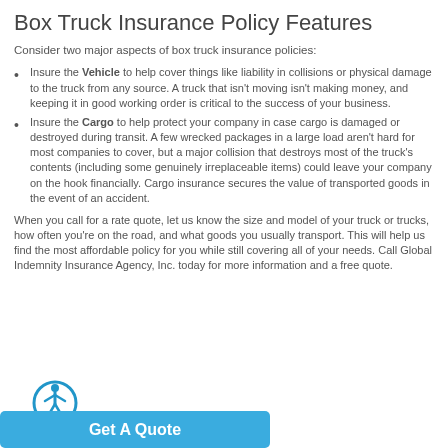Box Truck Insurance Policy Features
Consider two major aspects of box truck insurance policies:
Insure the Vehicle to help cover things like liability in collisions or physical damage to the truck from any source. A truck that isn't moving isn't making money, and keeping it in good working order is critical to the success of your business.
Insure the Cargo to help protect your company in case cargo is damaged or destroyed during transit. A few wrecked packages in a large load aren't hard for most companies to cover, but a major collision that destroys most of the truck's contents (including some genuinely irreplaceable items) could leave your company on the hook financially. Cargo insurance secures the value of transported goods in the event of an accident.
When you call for a rate quote, let us know the size and model of your truck or trucks, how often you're on the road, and what goods you usually transport. This will help us find the most affordable policy for you while still covering all of your needs. Call Global Indemnity Insurance Agency, Inc. today for more information and a free quote.
[Figure (other): Blue 'Get A Quote' button with accessibility icon]